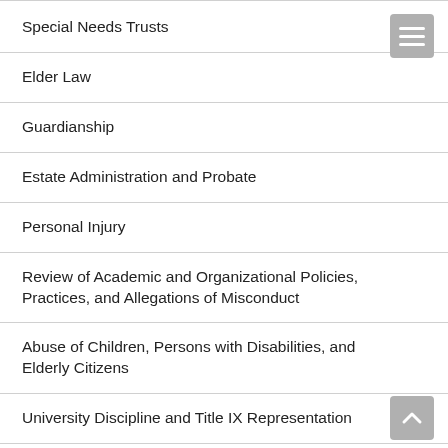Special Needs Trusts
Elder Law
Guardianship
Estate Administration and Probate
Personal Injury
Review of Academic and Organizational Policies, Practices, and Allegations of Misconduct
Abuse of Children, Persons with Disabilities, and Elderly Citizens
University Discipline and Title IX Representation
Investigations
Business Succession Planning Services
Will Contests, Trust Distribution Disputes, and Power of Attorney